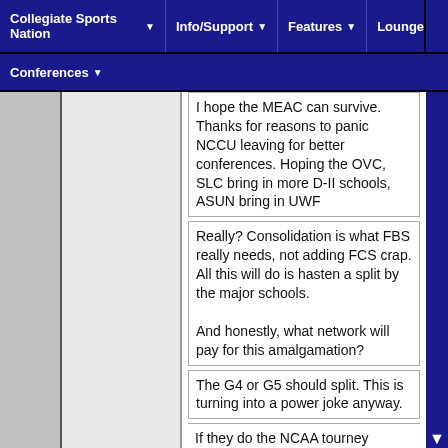Collegiate Sports Nation | Info/Support | Features | Lounge | Conferences
I hope the MEAC can survive. Thanks for reasons to panic NCCU leaving for better conferences. Hoping the OVC, SLC bring in more D-II schools, ASUN bring in UWF
Really? Consolidation is what FBS really needs, not adding FCS crap. All this will do is hasten a split by the major schools.

And honestly, what network will pay for this amalgamation?
The G4 or G5 should split. This is turning into a power joke anyway.
If they do the NCAA tourney ratings will go way down. We love the upsets. They don't even need to leave. They NCAA doesn't really have any power over them anyway. I doubt they care If Missouri St. or SFA coming up from FCS dilutes their FBS, because it